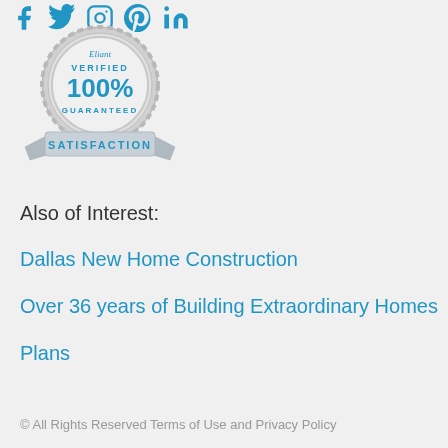[Figure (logo): Social media icons row: Facebook, Twitter, Instagram, Pinterest, LinkedIn in blue]
[Figure (illustration): Eliant Verified 100% Guaranteed Satisfaction silver badge/seal]
Also of Interest:
Dallas New Home Construction
Over 36 years of Building Extraordinary Homes
Plans
© All Rights Reserved Terms of Use and Privacy Policy